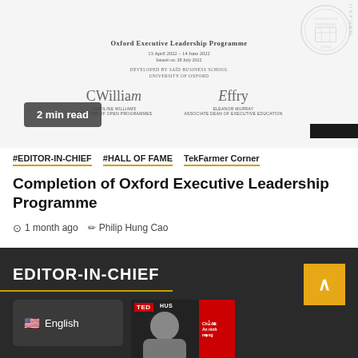[Figure (photo): Oxford Executive Leadership Programme certificate image with signatures, date 13 April 2022 - 14 June 2022, Issued on: 28 July 2022, developed by Saïd Business School University of Oxford, with Oxford university seal watermark]
2 min read
#EDITOR-IN-CHIEF  #HALL OF FAME  TekFarmer Corner
Completion of Oxford Executive Leadership Programme
1 month ago   Philip Hung Cao
EDITOR-IN-CHIEF
[Figure (photo): Language selector showing English with US flag, and a TED talk thumbnail showing a person speaking with red panel on right side reading 'Chủ đề: An ninh mạng']